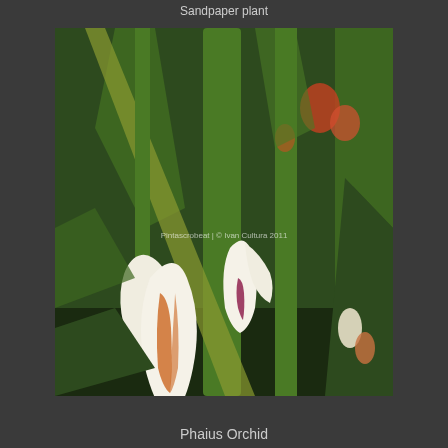Sandpaper plant
[Figure (photo): A photograph of Phaius Orchid plants with white and orange-striped flowers blooming among tall green leaves. Watermark reads 'Pintascrobeat | © Ivan Cultura 2011']
Phaius Orchid